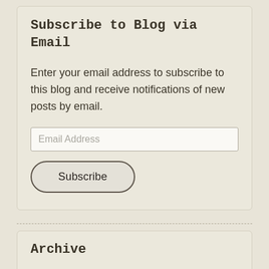Subscribe to Blog via Email
Enter your email address to subscribe to this blog and receive notifications of new posts by email.
Archive
All Interviews (155)